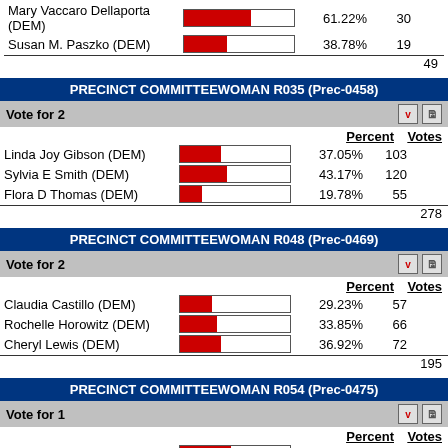Mary Vaccaro Dellaporta (DEM)
61.22%  30
Susan M. Paszko (DEM)
38.78%  19
49
PRECINCT COMMITTEEWOMAN R035 (Prec-0458)
Vote for 2
| Candidate | Bar | Percent | Votes |
| --- | --- | --- | --- |
| Linda Joy Gibson (DEM) |  | 37.05% | 103 |
| Sylvia E Smith (DEM) |  | 43.17% | 120 |
| Flora D Thomas (DEM) |  | 19.78% | 55 |
|  |  |  | 278 |
PRECINCT COMMITTEEWOMAN R048 (Prec-0469)
Vote for 2
| Candidate | Bar | Percent | Votes |
| --- | --- | --- | --- |
| Claudia Castillo (DEM) |  | 29.23% | 57 |
| Rochelle Horowitz (DEM) |  | 33.85% | 66 |
| Cheryl Lewis (DEM) |  | 36.92% | 72 |
|  |  |  | 195 |
PRECINCT COMMITTEEWOMAN R054 (Prec-0475)
Vote for 1
| Candidate | Bar | Percent | Votes |
| --- | --- | --- | --- |
| Susan C Mindell (DEM) |  | 46.15% | 30 |